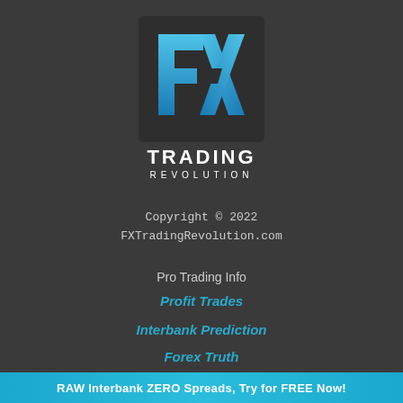[Figure (logo): FX Trading Revolution logo — blue angular FX letters on dark square background with TRADING REVOLUTION text below]
Copyright © 2022
FXTradingRevolution.com
Pro Trading Info
Profit Trades
Interbank Prediction
Forex Truth
Brokers Reviews
RAW Interbank ZERO Spreads, Try for FREE Now!